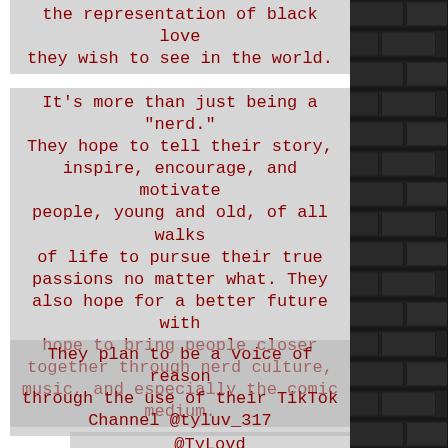the representation of black love they wish to see in the world.
It's more than just being a "nerd." They hope to tell their story, inspire, encourage, and motivate people, young and old, of all walks of life to pursue their true passions no matter what. They also hope for a better future with hope to bring people closer together through nerd culture, music, and especially the comic medium.
They plan to be a voice of reason through the use of their TikTok Channel @tyluv_317